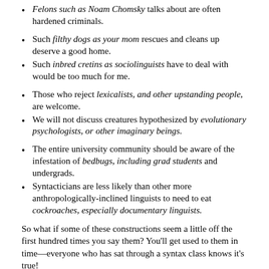Felons such as Noam Chomsky talks about are often hardened criminals.
Such filthy dogs as your mom rescues and cleans up deserve a good home.
Such inbred cretins as sociolinguists have to deal with would be too much for me.
Those who reject lexicalists, and other upstanding people, are welcome.
We will not discuss creatures hypothesized by evolutionary psychologists, or other imaginary beings.
The entire university community should be aware of the infestation of bedbugs, including grad students and undergrads.
Syntacticians are less likely than other more anthropologically-inclined linguists to need to eat cockroaches, especially documentary linguists.
So what if some of these constructions seem a little off the first hundred times you say them? You’ll get used to them in time—everyone who has sat through a syntax class knows it’s true!